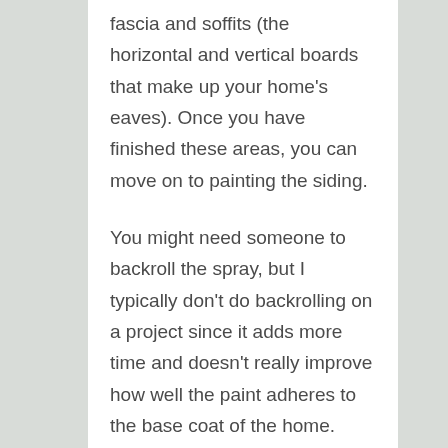fascia and soffits (the horizontal and vertical boards that make up your home's eaves). Once you have finished these areas, you can move on to painting the siding.
You might need someone to backroll the spray, but I typically don't do backrolling on a project since it adds more time and doesn't really improve how well the paint adheres to the base coat of the home.
Painting Trim Work and Facia (1-2 day)